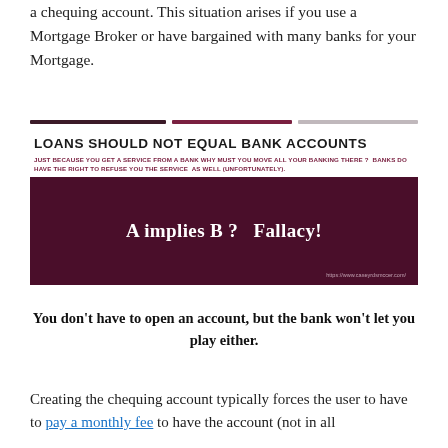a chequing account. This situation arises if you use a Mortgage Broker or have bargained with many banks for your Mortgage.
[Figure (infographic): Infographic with title 'LOANS SHOULD NOT EQUAL BANK ACCOUNTS', subtitle text in red 'JUST BECAUSE YOU GET A SERVICE FROM A BANK WHY MUST YOU MOVE ALL YOUR BANKING THERE? BANKS DO HAVE THE RIGHT TO REFUSE YOU THE SERVICE AS WELL (UNFORTUNATELY).', and a dark maroon box containing bold white text 'A implies B ? Fallacy!' with a URL at the bottom right.]
You don't have to open an account, but the bank won't let you play either.
Creating the chequing account typically forces the user to have to pay a monthly fee to have the account (not in all